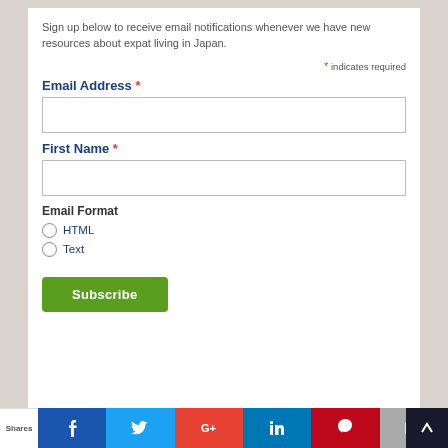Sign up below to receive email notifications whenever we have new resources about expat living in Japan.
* indicates required
Email Address *
First Name *
Email Format
HTML
Text
Subscribe
Shares | f | t | G+ | in | P | mail | crown